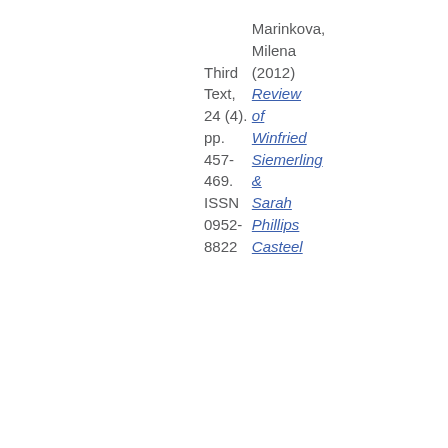Third Text, 24 (4). pp. 457-469. ISSN 0952-8822
Marinkova, Milena (2012) Review of Winfried Siemerling & Sarah Phillips Casteel